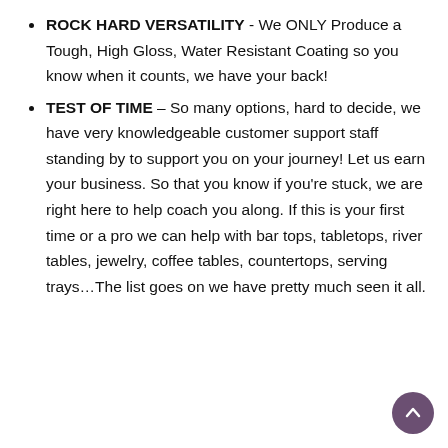ROCK HARD VERSATILITY - We ONLY Produce a Tough, High Gloss, Water Resistant Coating so you know when it counts, we have your back!
TEST OF TIME – So many options, hard to decide, we have very knowledgeable customer support staff standing by to support you on your journey! Let us earn your business. So that you know if you're stuck, we are right here to help coach you along. If this is your first time or a pro we can help with bar tops, tabletops, river tables, jewelry, coffee tables, countertops, serving trays…The list goes on we have pretty much seen it all.